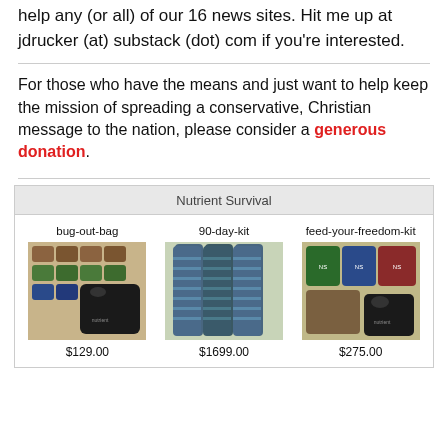help any (or all) of our 16 news sites. Hit me up at jdrucker (at) substack (dot) com if you're interested.
For those who have the means and just want to help keep the mission of spreading a conservative, Christian message to the nation, please consider a generous donation.
[Figure (other): Nutrient Survival advertisement showing three products: bug-out-bag ($129.00), 90-day-kit ($1699.00), and feed-your-freedom-kit ($275.00) with product images and prices.]